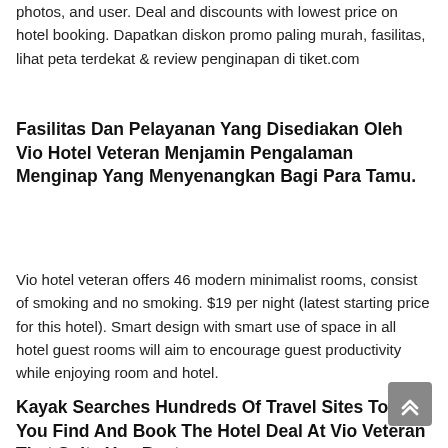photos, and user. Deal and discounts with lowest price on hotel booking. Dapatkan diskon promo paling murah, fasilitas, lihat peta terdekat & review penginapan di tiket.com
Fasilitas Dan Pelayanan Yang Disediakan Oleh Vio Hotel Veteran Menjamin Pengalaman Menginap Yang Menyenangkan Bagi Para Tamu.
Vio hotel veteran offers 46 modern minimalist rooms, consist of smoking and no smoking. $19 per night (latest starting price for this hotel). Smart design with smart use of space in all hotel guest rooms will aim to encourage guest productivity while enjoying room and hotel.
Kayak Searches Hundreds Of Travel Sites To Help You Find And Book The Hotel Deal At Vio Veteran That Suits You Best.